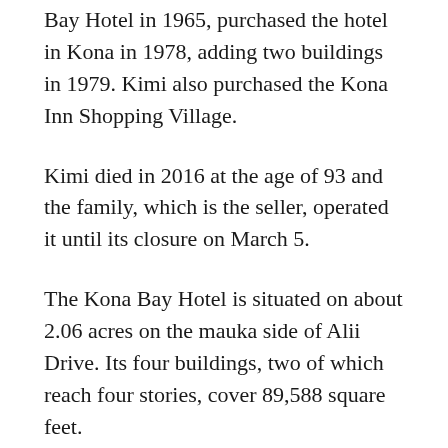Bay Hotel in 1965, purchased the hotel in Kona in 1978, adding two buildings in 1979. Kimi also purchased the Kona Inn Shopping Village.
Kimi died in 2016 at the age of 93 and the family, which is the seller, operated it until its closure on March 5.
The Kona Bay Hotel is situated on about 2.06 acres on the mauka side of Alii Drive. Its four buildings, two of which reach four stories, cover 89,588 square feet.
The hotel also features an 800-square-foot reinforced concrete pool built in 1965.
The county lists the total market value of the property at $4.42 million.
The Kona Inn Shopping Village, built on the site of the Kona Inn, which opened in 1928, is located on about 4.07 acres of oceanfront property on the mauka side of